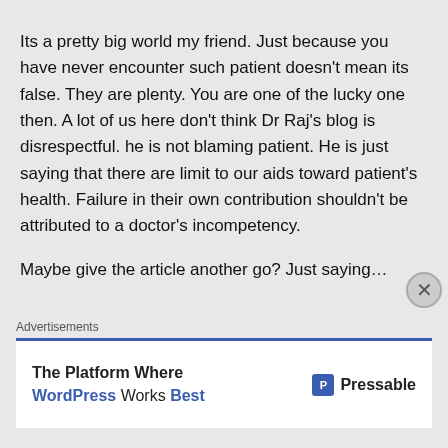Its a pretty big world my friend. Just because you have never encounter such patient doesn't mean its false. They are plenty. You are one of the lucky one then. A lot of us here don't think Dr Raj's blog is disrespectful. he is not blaming patient. He is just saying that there are limit to our aids toward patient's health. Failure in their own contribution shouldn't be attributed to a doctor's incompetency.

Maybe give the article another go? Just saying…
Advertisements
[Figure (other): Advertisement banner for Pressable WordPress hosting. Text reads: 'The Platform Where WordPress Works Best' with Pressable logo on the right.]